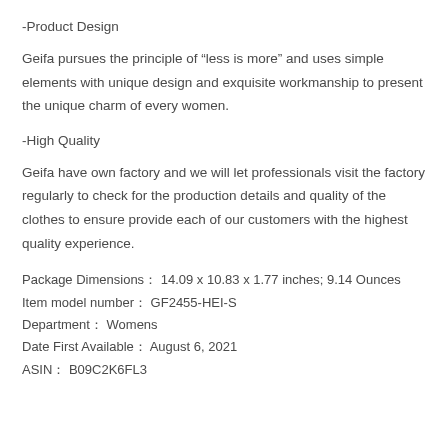-Product Design
Geifa pursues the principle of “less is more” and uses simple elements with unique design and exquisite workmanship to present the unique charm of every women.
-High Quality
Geifa have own factory and we will let professionals visit the factory regularly to check for the production details and quality of the clothes to ensure provide each of our customers with the highest quality experience.
Package Dimensions： 14.09 x 10.83 x 1.77 inches; 9.14 Ounces
Item model number： GF2455-HEI-S
Department： Womens
Date First Available： August 6, 2021
ASIN： B09C2K6FL3